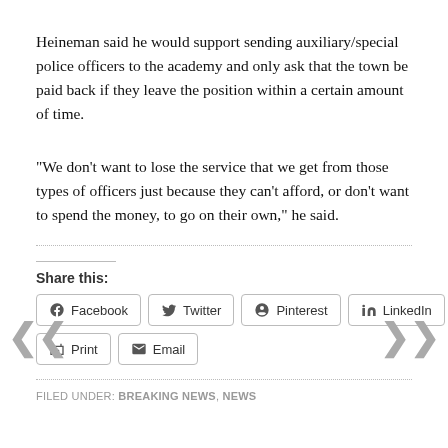Heineman said he would support sending auxiliary/special police officers to the academy and only ask that the town be paid back if they leave the position within a certain amount of time.
“We don’t want to lose the service that we get from those types of officers just because they can’t afford, or don’t want to spend the money, to go on their own,” he said.
Share this: Facebook Twitter Pinterest LinkedIn Print Email
FILED UNDER: BREAKING NEWS, NEWS